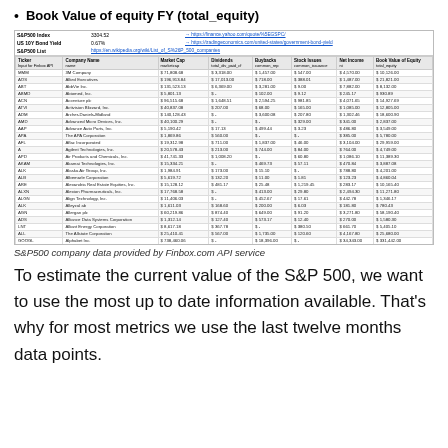Book Value of equity FY (total_equity)
| Ticker | Company Name | Market Cap | Dividends | Buybacks | Stock Issues | Net Income | Book Value of Equity |
| --- | --- | --- | --- | --- | --- | --- | --- |
| MMM | 3M Company | $ 71,808.68 | $ 3,318.00 | $ 1,457.00 | $ 547.00 | $ 4,570.00 | $ 10,126.00 |
| AOS | Allied Executives | $ 196,913.84 | $ 17,013.00 | $ 718.00 | $ 388.01 | $ 1,487.00 | $ 21,821.00 |
| ABT | AbbVie Inc. | $ 131,523.13 | $ 6,369.00 | $ 3,281.00 | $ 9.00 | $ 7,882.00 | $ 8,132.00 |
| ABMD | Abiomed, Inc. | $ 5,801.13 | $ - | $ 102.00 | $ 9.12 | $ 245.17 | $ 930.89 |
| ACN | Accenture plc | $ 96,515.68 | $ 1,648.51 | $ 2,594.25 | $ 981.85 | $ 4,071.65 | $ 14,927.69 |
| ATVI | Activision Blizzard, Inc. | $ 40,837.08 | $ 207.00 | $ 68.00 | $ 165.00 | $ 1,085.00 | $ 12,805.00 |
| ADM | Archer-Daniels-Midland | $ 140,128.43 | $ - | $ 3,600.08 | $ 207.80 | $ 1,302.46 | $ 18,600.90 |
| AMD | Advanced Micro Devices, Inc. | $ 40,100.29 | $ - | $ - | $ 329.00 | $ 341.00 | $ 2,837.00 |
| AAP | Advance Auto Parts, Inc. | $ 5,190.42 | $ 17.13 | $ 499.44 | $ 3.23 | $ 486.80 | $ 3,549.00 |
| APA | The APA Corporation | $ 1,869.86 | $ 560.00 | $ - | $ - | $ 385.00 | $ 5,780.00 |
| AFL | Aflac Incorporated | $ 19,312.98 | $ 711.00 | $ 1,837.00 | $ 46.00 | $ 3,104.00 | $ 29,959.00 |
| A | Agilent Technologies, Inc. | $ 20,578.43 | $ 213.00 | $ 744.00 | $ 84.00 | $ 764.00 | $ 4,749.00 |
| APD | Air Products and Chemicals, Inc. | $ 41,741.33 | $ 1,008.20 | $ - | $ 60.80 | $ 1,086.10 | $ 11,389.30 |
| AKAM | Akamai Technologies, Inc. | $ 15,334.21 | $ - | $ 469.73 | $ 57.11 | $ 470.84 | $ 3,887.08 |
| ALK | Alaska Air Group, Inc. | $ 1,984.91 | $ 173.00 | $ 15.10 | $ - | $ 788.80 | $ 4,201.00 |
| ALB | Albemarle Corporation | $ 5,619.72 | $ 132.20 | $ 11.00 | $ 1.81 | $ 123.23 | $ 4,860.04 |
| ARE | Alexandria Real Estate Equities, Inc. | $ 15,128.12 | $ 481.17 | $ 25.48 | $ 1,219.45 | $ 283.17 | $ 10,165.40 |
| ALXN | Alexion Pharmaceuticals, Inc. | $ 17,768.58 | $ - | $ 413.00 | $ 29.80 | $ 2,494.30 | $ 11,271.80 |
| ALGN | Align Technology, Inc. | $ 11,406.03 | $ - | $ 452.67 | $ 17.61 | $ 442.78 | $ 1,346.17 |
| ALK | Alleycal ab | $ 1,611.03 | $ 168.60 | $ 200.00 | $ 6.03 | $ 181.80 | $ 780.43 |
| AGN | Allergan plc | $ 60,219.86 | $ 874.40 | $ 649.00 | $ 91.20 | $ 3,271.80 | $ 58,190.40 |
| ADS | Alliance Data Systems Corporation | $ 1,312.14 | $ 127.40 | $ 573.17 | $ 12.40 | $ 270.00 | $ 1,580.30 |
| LNT | Alliant Energy Corporation | $ 8,617.18 | $ 367.78 | $ - | $ 380.50 | $ 661.70 | $ 5,405.10 |
| ALL | The Allstate Corporation | $ 25,410.41 | $ 567.00 | $ 1,735.00 | $ 120.60 | $ 4,167.80 | $ 25,680.00 |
| GOOGL | Alphabet Inc. | $ 738,460.06 | $ - | $ 18,396.00 | $ - | $ 34,343.00 | $ 331,442.00 |
| GOOG | Alphabet Inc. | $ 735,567.38 | $ - | $ 18,396.00 | $ - | $ 34,343.00 | $ 331,442.00 |
| MO | Altria Group, Inc. | $ 83,704.01 | $ 6,065.00 | $ 845.00 | $ - | $ -1,293.00 | $ 8,587.00 |
| AMZN | Amazon.com, Inc. | $ 1,960,203.99 | $ - | $ - | $ - | $ 11,488.00 | $ -65,860.00 |
| AMCR | Amcast etc. | $ 15,858.08 | $ 782.30 | $ 222.72 | $ - | $ 484.80 | $ 5,274.30 |
| ACC | Amazon Corporation | $ 15,495.38 | $ 472.00 | $ 28.00 | $ 80.00 | $ 828.00 | $ 8,261.00 |
| AAL | American Airlines Group Inc. | $ 4,422.48 | $ 178.00 | $ 1,887.00 | $ - | $ 1,686.00 | $ -718.00 |
| AEP | American Electric Power Company, Inc. | $ 38,359.80 | $ 1,325.60 | $ - | $ 63.20 | $ 1,921.10 | $ 19,875.80 |
| AXP | American Express Company | $ 95,891.97 | $ 1,420.00 | $ 4,685.00 | $ 80.01 | $ 8,199.80 | $ 25,371.00 |
| AIG | American International Group, Inc. | $ 10,792.91 | $ 1,120.00 | $ - | $ - | $ 3,340.80 | $ 67,427.00 |
| T | AT&T Inc. | $ 284,988.58 | $ 14,608.00 | $ 2,417.00 | $ 631.80 | $ 13,085.00 | $ 231,934.00 |
| AWK | American Tower Corporation (REIT) | $ 80,610.64 | $ 1,610.00 | $ 19.00 | $ 185.41 | $ 1,287.60 | $ 9,886.80 |
| AWT | American Water Works Company, Inc. | $ 19,202.34 | $ 333.00 | $ 47.00 | $ 26.60 | $ 601.80 | $ 6,131.00 |
| AMP | Ameriprise Financial, Inc. | $ 11,846.27 | $ 534.00 | $ 1,843.00 | $ 3.60 | $ 1,668.00 | $ 5,729.00 |
S&P500 company data provided by Finbox.com API service
To estimate the current value of the S&P 500, we want to use the most up to date information available. That's why for most metrics we use the last twelve months data points.